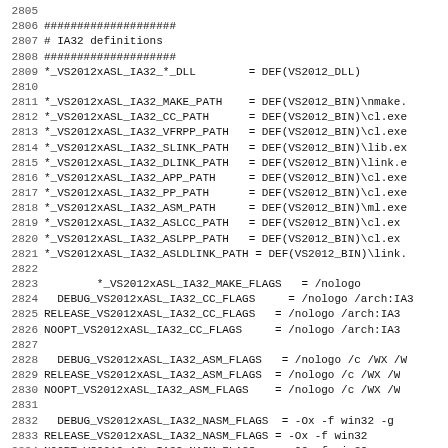Code listing lines 2805-2837, IA32 definitions for VS2012xASL toolchain configuration including DLL, path, and flag definitions.